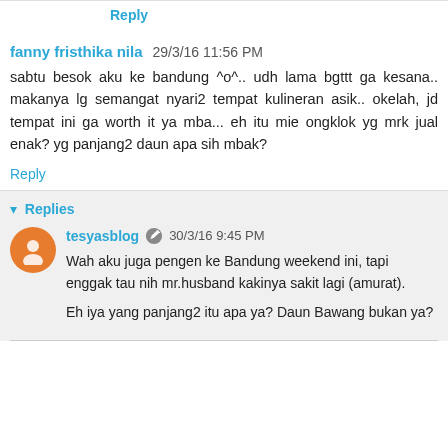Reply
fanny fristhika nila  29/3/16 11:56 PM
sabtu besok aku ke bandung ^o^.. udh lama bgttt ga kesana.. makanya lg semangat nyari2 tempat kulineran asik.. okelah, jd tempat ini ga worth it ya mba... eh itu mie ongklok yg mrk jual enak? yg panjang2 daun apa sih mbak?
Reply
Replies
tesyasblog  30/3/16 9:45 PM
Wah aku juga pengen ke Bandung weekend ini, tapi enggak tau nih mr.husband kakinya sakit lagi (amurat).

Eh iya yang panjang2 itu apa ya? Daun Bawang bukan ya?